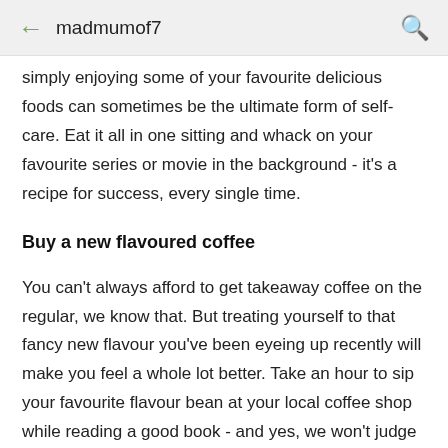← madmumof7 🔍
simply enjoying some of your favourite delicious foods can sometimes be the ultimate form of self-care. Eat it all in one sitting and whack on your favourite series or movie in the background - it's a recipe for success, every single time.
Buy a new flavoured coffee
You can't always afford to get takeaway coffee on the regular, we know that. But treating yourself to that fancy new flavour you've been eyeing up recently will make you feel a whole lot better. Take an hour to sip your favourite flavour bean at your local coffee shop while reading a good book - and yes, we won't judge you if it's pumpkin spice.